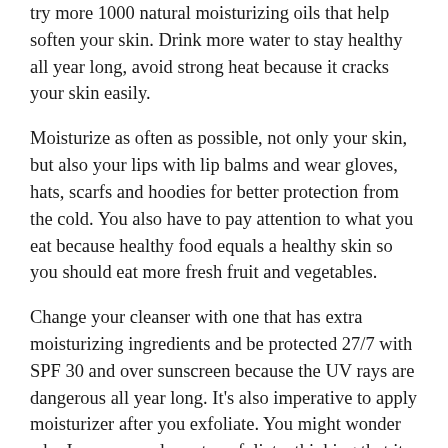try more 1000 natural moisturizing oils that help soften your skin. Drink more water to stay healthy all year long, avoid strong heat because it cracks your skin easily.
Moisturize as often as possible, not only your skin, but also your lips with lip balms and wear gloves, hats, scarfs and hoodies for better protection from the cold. You also have to pay attention to what you eat because healthy food equals a healthy skin so you should eat more fresh fruit and vegetables.
Change your cleanser with one that has extra moisturizing ingredients and be protected 27/7 with SPF 30 and over sunscreen because the UV rays are dangerous all year long. It's also imperative to apply moisturizer after you exfoliate. You might wonder why I recommend you to exfoliate, thinking that it could dry your skin even more. But know that a well-chosen product will kill the dead cells and soften the skin, especially if you apply the moisturizer after. You have noticed that I keep on repeating the line with the moisturizer, but it's only because it's the most important thing to do in the cold season.
Shaving in the winter can fasten the drying and irritating of the skin, and that is why you should do it after a shower when hair follicles are softer, making the process easier. You could also